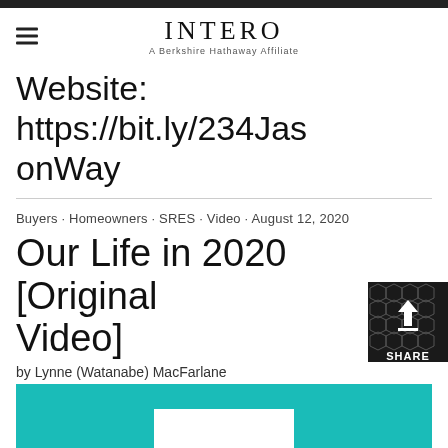[Figure (logo): Intero - A Berkshire Hathaway Affiliate logo with hamburger menu icon on left]
Website: https://bit.ly/234JasonWay
Buyers · Homeowners · SRES · Video · August 12, 2020
Our Life in 2020 [Original Video]
by Lynne (Watanabe) MacFarlane
[Figure (screenshot): Teal/turquoise colored video thumbnail with M-shaped design element at bottom]